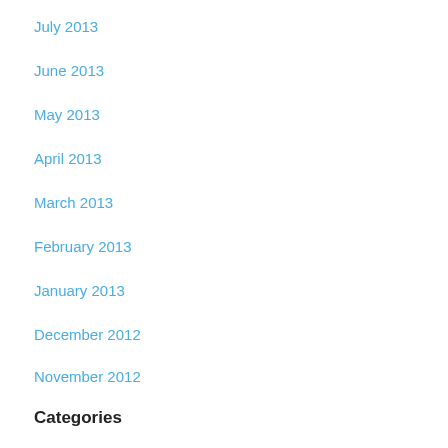July 2013
June 2013
May 2013
April 2013
March 2013
February 2013
January 2013
December 2012
November 2012
Categories
inspiring and motivation quotes
TOOLS FOR A POSITIVE AND REWARDING LIFE